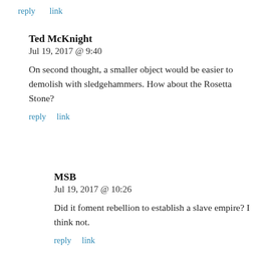reply   link
Ted McKnight
Jul 19, 2017 @ 9:40
On second thought, a smaller object would be easier to demolish with sledgehammers. How about the Rosetta Stone?
reply   link
MSB
Jul 19, 2017 @ 10:26
Did it foment rebellion to establish a slave empire? I think not.
reply   link